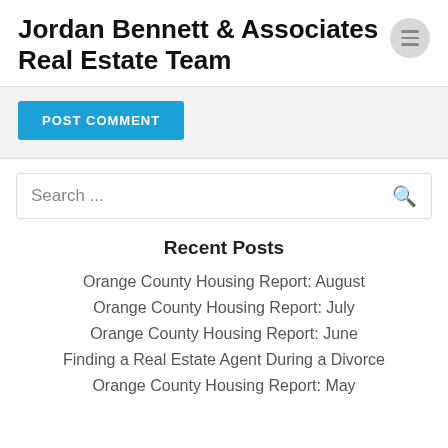Jordan Bennett & Associates Real Estate Team
[Figure (other): Blue 'POST COMMENT' button on a light gray background section]
[Figure (other): Search bar with placeholder text 'Search ...' and a search icon on the right]
Recent Posts
Orange County Housing Report: August
Orange County Housing Report: July
Orange County Housing Report: June
Finding a Real Estate Agent During a Divorce
Orange County Housing Report: May